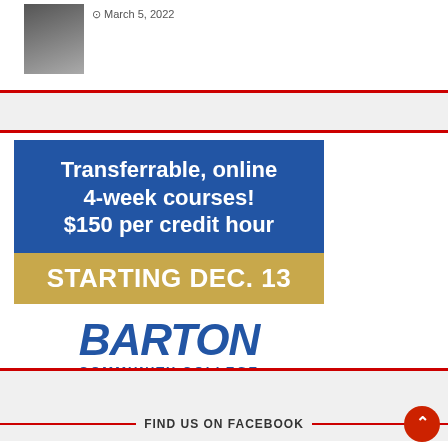[Figure (photo): Small thumbnail photo of people at a graduation or group event]
March 5, 2022
[Figure (infographic): Barton Community College advertisement: Transferrable, online 4-week courses! $150 per credit hour. STARTING DEC. 13. BARTON COMMUNITY COLLEGE.]
FIND US ON FACEBOOK